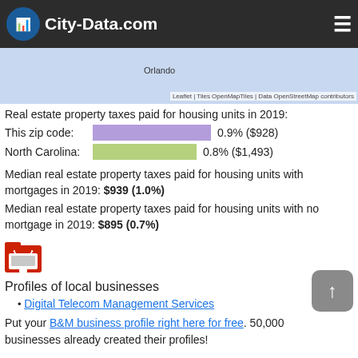[Figure (screenshot): City-Data.com website header with dark background, logo, and hamburger menu icon]
[Figure (map): Map showing Florida region with Orlando label and Leaflet/OpenMapTiles/OpenStreetMap attribution]
Real estate property taxes paid for housing units in 2019:
This zip code: [purple bar] 0.9% ($928)
North Carolina: [green bar] 0.8% ($1,493)
Median real estate property taxes paid for housing units with mortgages in 2019: $939 (1.0%)
Median real estate property taxes paid for housing units with no mortgage in 2019: $895 (0.7%)
[Figure (logo): Red folder/computer icon representing local business profiles]
Profiles of local businesses
Digital Telecom Management Services
Put your B&M business profile right here for free. 50,000 businesses already created their profiles!